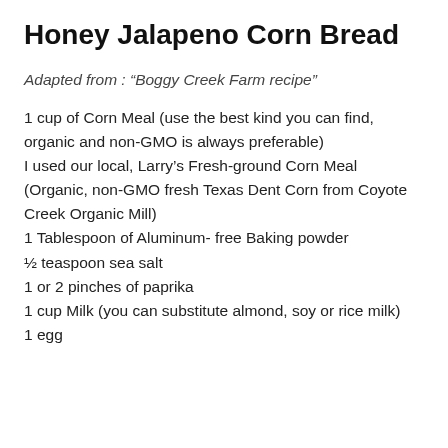Honey Jalapeno Corn Bread
Adapted from : “Boggy Creek Farm recipe”
1 cup of Corn Meal (use the best kind you can find, organic and non-GMO is always preferable)
I used our local, Larry’s Fresh-ground Corn Meal
(Organic, non-GMO fresh Texas Dent Corn from Coyote Creek Organic Mill)
1 Tablespoon of Aluminum- free Baking powder
½ teaspoon sea salt
1 or 2 pinches of paprika
1 cup Milk (you can substitute almond, soy or rice milk)
1 egg